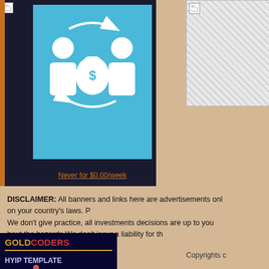[Figure (illustration): Left banner: dark navy background with light blue panel showing two white person icons with a money bag in between and circular arrows indicating money transfer. Link text 'Never for $0.00/week' at bottom.]
[Figure (illustration): Right side: broken/missing image placeholder with gray dotted background]
DISCLAIMER: All banners and links here are advertisements only on your country's laws. P... We don't give practice, all investments decisions are up to you... bout the hazards.We don't incur a liability for th...
[Figure (logo): GoldCoders HYIP Template badge with robot mascot, dark blue background, gold and red text]
Copyrights c...